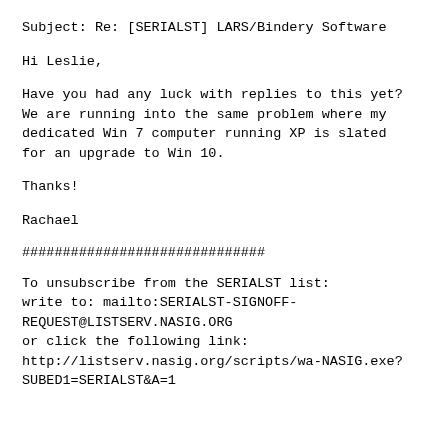Subject: Re: [SERIALST] LARS/Bindery Software
Hi Leslie,
Have you had any luck with replies to this yet? We are running into the same problem where my dedicated Win 7 computer running XP is slated for an upgrade to Win 10.
Thanks!
Rachael
##############################
To unsubscribe from the SERIALST list:
write to: mailto:SERIALST-SIGNOFF-REQUEST@LISTSERV.NASIG.ORG
or click the following link:
http://listserv.nasig.org/scripts/wa-NASIG.exe?SUBED1=SERIALST&A=1